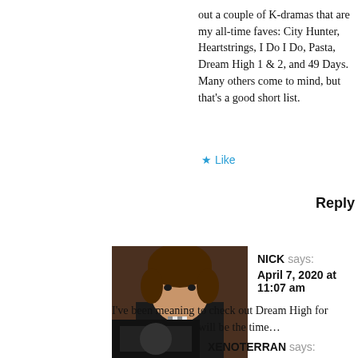out a couple of K-dramas that are my all-time faves: City Hunter, Heartstrings, I Do I Do, Pasta, Dream High 1 & 2, and 49 Days. Many others come to mind, but that's a good short list.
★ Like
Reply
[Figure (photo): Avatar photo of Nick, a person with brown hair wearing a dark suit]
NICK says:
April 7, 2020 at 11:07 am
I've been meaning to check out Dream High for years. Maybe now will be the time…
★ Like
Reply
[Figure (photo): Avatar photo of Xenoterran, dark image]
XENOTERRAN says: